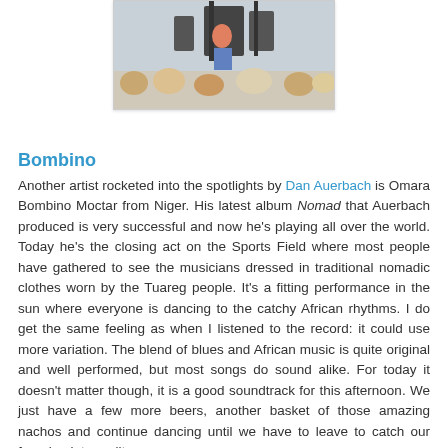[Figure (photo): Partial photo of a concert or outdoor event, showing performers on a stage with some equipment visible and people in the foreground.]
Bombino
Another artist rocketed into the spotlights by Dan Auerbach is Omara Bombino Moctar from Niger. His latest album Nomad that Auerbach produced is very successful and now he's playing all over the world. Today he's the closing act on the Sports Field where most people have gathered to see the musicians dressed in traditional nomadic clothes worn by the Tuareg people. It's a fitting performance in the sun where everyone is dancing to the catchy African rhythms. I do get the same feeling as when I listened to the record: it could use more variation. The blend of blues and African music is quite original and well performed, but most songs do sound alike. For today it doesn't matter though, it is a good soundtrack for this afternoon. We just have a few more beers, another basket of those amazing nachos and continue dancing until we have to leave to catch our ferry back to reality.